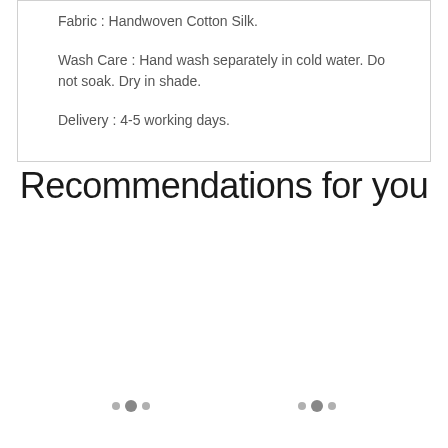Fabric : Handwoven Cotton Silk.

Wash Care : Hand wash separately in cold water. Do not soak. Dry in shade.

Delivery : 4-5 working days.
Recommendations for you